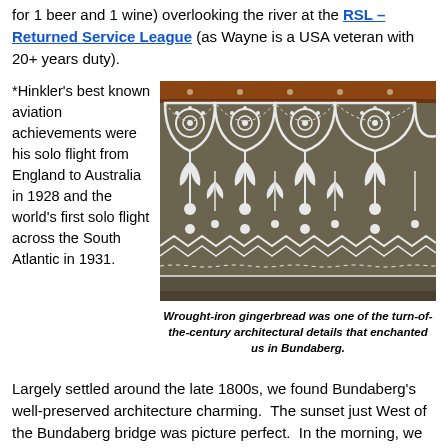for 1 beer and 1 wine) overlooking the river at the RSL – Returned Service League (as Wayne is a USA veteran with 20+ years duty).
*Hinkler's best known aviation achievements were his solo flight from England to Australia in 1928 and the world's first solo flight across the South Atlantic in 1931.
[Figure (photo): Close-up photograph of ornate wrought-iron gingerbread architectural detail — white decorative ironwork with floral and geometric patterns against a dark green/grey background, mounted below a reddish-brown timber fascia.]
Wrought-iron gingerbread was one of the turn-of-the-century architectural details that enchanted us in Bundaberg.
Largely settled around the late 1800s, we found Bundaberg's well-preserved architecture charming.  The sunset just West of the Bundaberg bridge was picture perfect.  In the morning, we awoke to a birdsong concerto, then the red-throated welcome swallows partied on our lifelines and rigging, as many as 40 at a time.